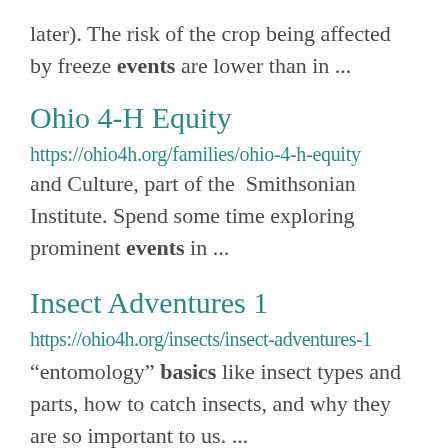later). The risk of the crop being affected by freeze events are lower than in ...
Ohio 4-H Equity
https://ohio4h.org/families/ohio-4-h-equity and Culture, part of the Smithsonian Institute. Spend some time exploring prominent events in ...
Insect Adventures 1
https://ohio4h.org/insects/insect-adventures-1 “entomology” basics like insect types and parts, how to catch insects, and why they are so important to us. ...